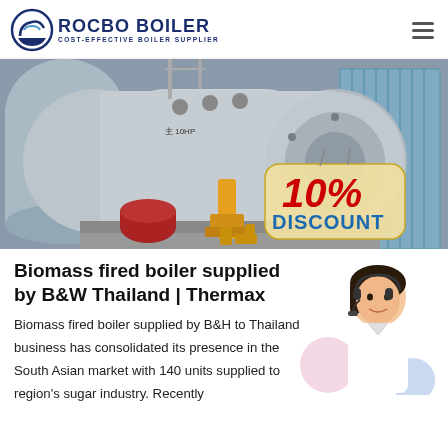ROCBO BOILER - COST-EFFECTIVE BOILER SUPPLIER
[Figure (photo): Large industrial biomass fired boiler on a factory floor with a 10% DISCOUNT badge overlay]
Biomass fired boiler supplied by B&W Thailand | Thermax
Biomass fired boiler supplied by B&H to Thailand business has consolidated its presence in the South Asian market with 140 units supplied to region's sugar industry. Recently